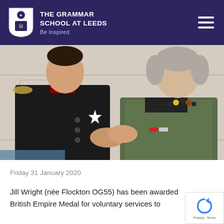THE GRAMMAR SCHOOL AT LEEDS
Be Inspired
[Figure (photo): Two people shaking hands. On the left, a man in a black military dress uniform with red collar, gold epaulettes, and a white star medal on his chest. On the right, an older woman with short grey hair wearing a green floral jacket, colourful beaded necklace, and a medal on her lapel. They are posing together in what appears to be a formal interior setting.]
Friday 31 January 2020
Jill Wright (née Flockton OG55) has been awarded British Empire Medal for voluntary services to